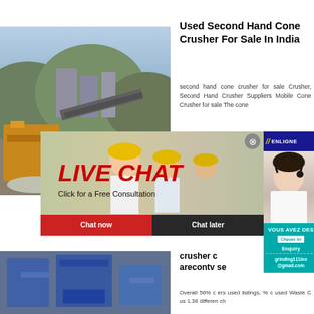[Figure (photo): Industrial crusher/mining machinery with conveyor belts and equipment]
Used Second Hand Cone Crusher For Sale In India
second hand cone crusher for sale Crusher, Second Hand Crusher Suppliers Mobile Cone Crusher for sale The cone
[Figure (photo): Live chat banner with workers wearing yellow hard hats and text LIVE CHAT Click for a Free Consultation with Chat now and Chat later buttons]
[Figure (photo): Enligne online chat service banner with customer service agent]
[Figure (photo): Industrial blue machinery/crusher equipment]
crusher c arecontv se
Overall 56% c ers used listings, % c used Waste C us 1.38 differen ch
[Figure (other): VOUS AVEZ DES panel with Cliquez ici button, Enquiry text, grinding111leo@gmail.com contact]